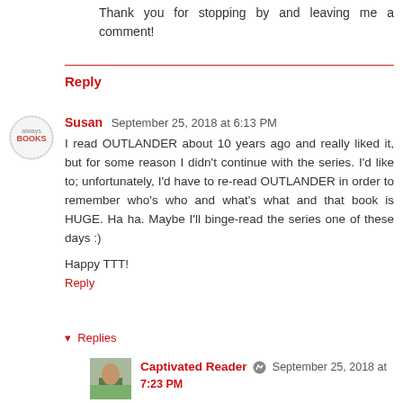Thank you for stopping by and leaving me a comment!
Reply
Susan September 25, 2018 at 6:13 PM
I read OUTLANDER about 10 years ago and really liked it, but for some reason I didn't continue with the series. I'd like to; unfortunately, I'd have to re-read OUTLANDER in order to remember who's who and what's what and that book is HUGE. Ha ha. Maybe I'll binge-read the series one of these days :)

Happy TTT!
Reply
▾ Replies
Captivated Reader September 25, 2018 at 7:23 PM